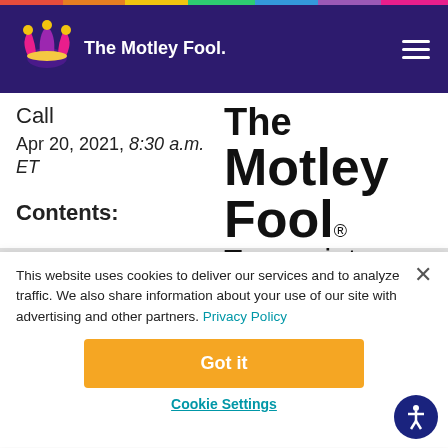[Figure (logo): The Motley Fool jester hat logo and wordmark in white on dark purple navigation bar]
Call
Apr 20, 2021, 8:30 a.m. ET
[Figure (logo): The Motley Fool Transcripts large logo text]
Contents:
This website uses cookies to deliver our services and to analyze traffic. We also share information about your use of our site with advertising and other partners. Privacy Policy
Got it
Cookie Settings